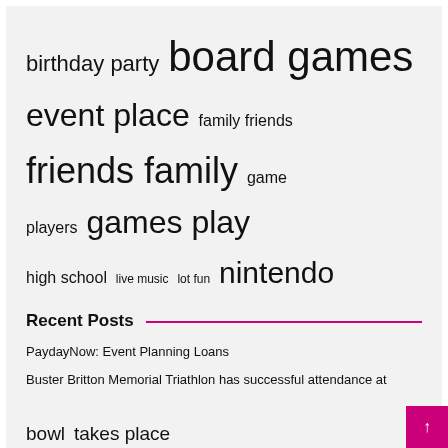[Figure (infographic): Tag cloud with terms of varying sizes: birthday party, board games, event place, family friends, friends family, game players, games play, high school, live music, lot fun, nintendo switch, party games, super bowl, takes place, united states]
Recent Posts
PaydayNow: Event Planning Loans
Buster Britton Memorial Triathlon has successful attendance at